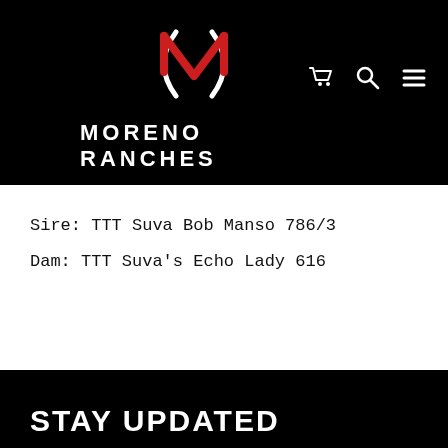[Figure (logo): Moreno Ranches logo: stylized M with white parentheses arcs and red checkmark/V shape on black background]
MORENO RANCHES
Sire: TTT Suva Bob Manso 786/3
Dam: TTT Suva's Echo Lady 616
STAY UPDATED